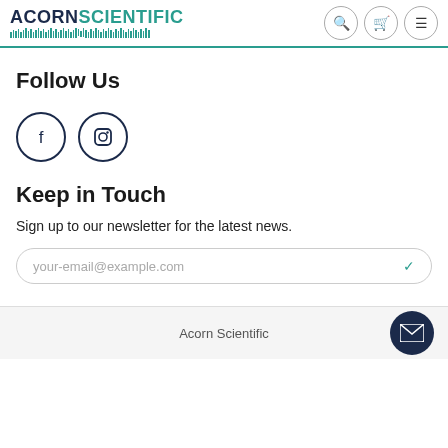ACORN SCIENTIFIC
Follow Us
[Figure (illustration): Facebook circle icon and Instagram circle icon side by side]
Keep in Touch
Sign up to our newsletter for the latest news.
your-email@example.com
Acorn Scientific